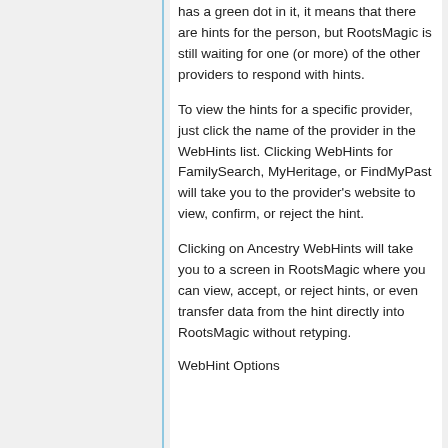has a green dot in it, it means that there are hints for the person, but RootsMagic is still waiting for one (or more) of the other providers to respond with hints.
To view the hints for a specific provider, just click the name of the provider in the WebHints list. Clicking WebHints for FamilySearch, MyHeritage, or FindMyPast will take you to the provider's website to view, confirm, or reject the hint.
Clicking on Ancestry WebHints will take you to a screen in RootsMagic where you can view, accept, or reject hints, or even transfer data from the hint directly into RootsMagic without retyping.
WebHint Options
...